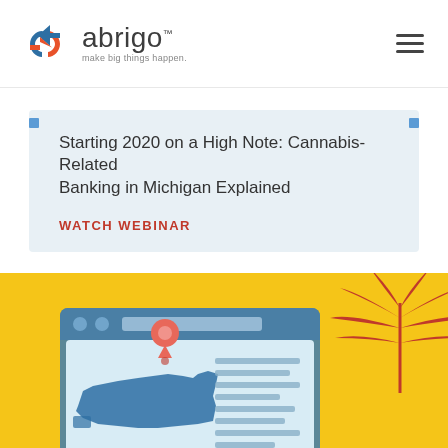abrigo — make big things happen.
Starting 2020 on a High Note: Cannabis-Related Banking in Michigan Explained
WATCH WEBINAR
[Figure (illustration): Illustration of a browser/monitor window showing a map of the United States with a location pin marker, text lines on the right side, on a yellow background. A red/coral cannabis leaf illustration appears behind the top-right corner of the monitor.]